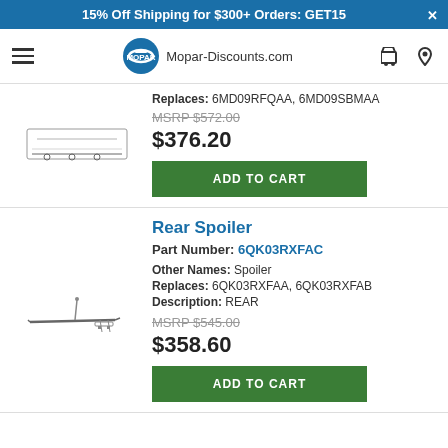15% Off Shipping for $300+ Orders: GET15
[Figure (logo): Mopar logo circle with M icon and Mopar-Discounts.com text]
Replaces: 6MD09RFQAA, 6MD09SBMAA
MSRP $572.00
$376.20
ADD TO CART
Rear Spoiler
Part Number: 6QK03RXFAC
Other Names: Spoiler
Replaces: 6QK03RXFAA, 6QK03RXFAB
Description: REAR
MSRP $545.00
$358.60
ADD TO CART